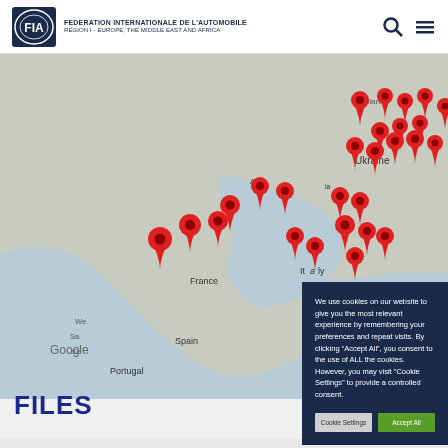FEDERATION INTERNATIONALE DE L'AUTOMOBILE REGION I - EUROPE, THE MIDDLE EAST AND AFRICA
[Figure (map): Google map of Europe, Middle East region with multiple red location pin markers clustered over Western and Central Europe, showing countries including Ireland, Ukraine, France, Spain, Portugal, Italy, Greece, with 'Google' watermark at bottom left.]
We use cookies on our website to give you the most relevant experience by remembering your preferences and repeat visits. By clicking “Accept All”, you consent to the use of ALL the cookies. However, you may visit "Cookie Settings" to provide a controlled consent.
Cookie Settings
Accept All
FILES